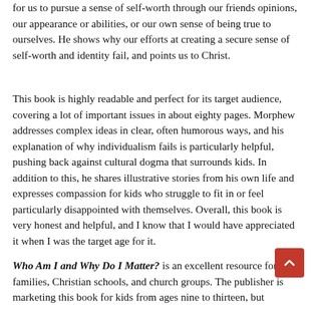for us to pursue a sense of self-worth through our friends opinions, our appearance or abilities, or our own sense of being true to ourselves. He shows why our efforts at creating a secure sense of self-worth and identity fail, and points us to Christ.
This book is highly readable and perfect for its target audience, covering a lot of important issues in about eighty pages. Morphew addresses complex ideas in clear, often humorous ways, and his explanation of why individualism fails is particularly helpful, pushing back against cultural dogma that surrounds kids. In addition to this, he shares illustrative stories from his own life and expresses compassion for kids who struggle to fit in or feel particularly disappointed with themselves. Overall, this book is very honest and helpful, and I know that I would have appreciated it when I was the target age for it.
Who Am I and Why Do I Matter? is an excellent resource for families, Christian schools, and church groups. The publisher is marketing this book for kids from ages nine to thirteen, but